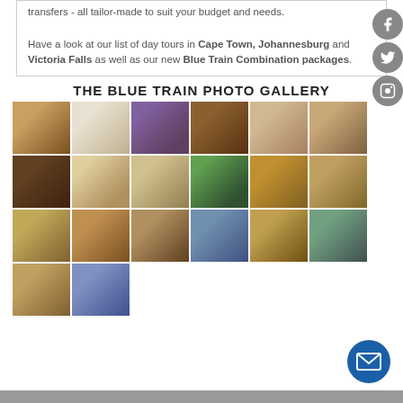transfers - all tailor-made to suit your budget and needs.

Have a look at our list of day tours in Cape Town, Johannesburg and Victoria Falls as well as our new Blue Train Combination packages.
THE BLUE TRAIN PHOTO GALLERY
[Figure (photo): Grid of 20 thumbnail photos showing Blue Train interior rooms, food, staff, dining car, lounge, scenic landscapes, and train exterior]